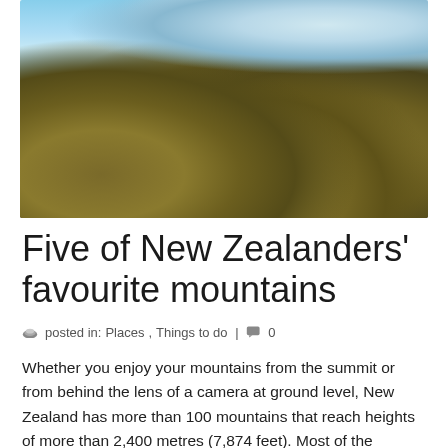[Figure (photo): Aerial/elevated view of a rugged mountain ridge covered in golden-green tussock grass, with a snow-dusted lake and blue sky visible in the background. A trail runs along the ridge. New Zealand landscape.]
Five of New Zealanders' favourite mountains
posted in: Places, Things to do | 0
Whether you enjoy your mountains from the summit or from behind the lens of a camera at ground level, New Zealand has more than 100 mountains that reach heights of more than 2,400 metres (7,874 feet). Most of the